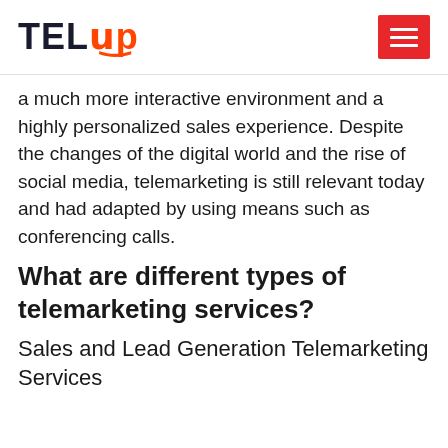TELup
a much more interactive environment and a highly personalized sales experience. Despite the changes of the digital world and the rise of social media, telemarketing is still relevant today and had adapted by using means such as conferencing calls.
What are different types of telemarketing services?
Sales and Lead Generation Telemarketing Services